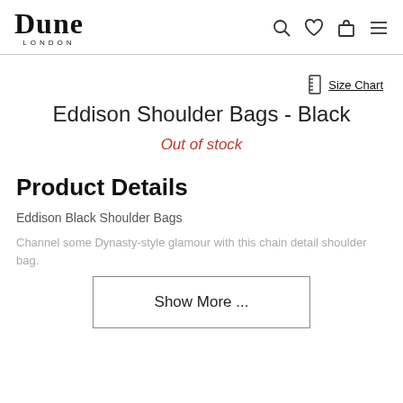Dune London
Size Chart
Eddison Shoulder Bags - Black
Out of stock
Product Details
Eddison Black Shoulder Bags
Channel some Dynasty-style glamour with this chain detail shoulder bag.
Show More ...